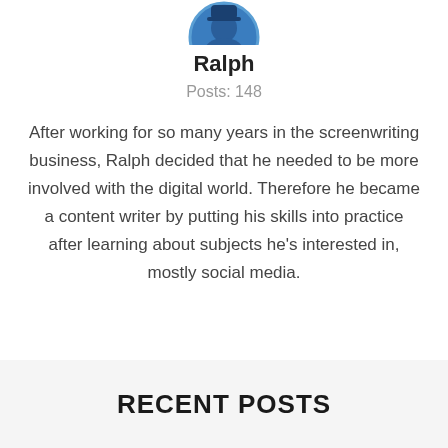[Figure (illustration): Circular avatar image of a person (Ralph) with blue background, partially cropped at top]
Ralph
Posts: 148
After working for so many years in the screenwriting business, Ralph decided that he needed to be more involved with the digital world. Therefore he became a content writer by putting his skills into practice after learning about subjects he's interested in, mostly social media.
RECENT POSTS